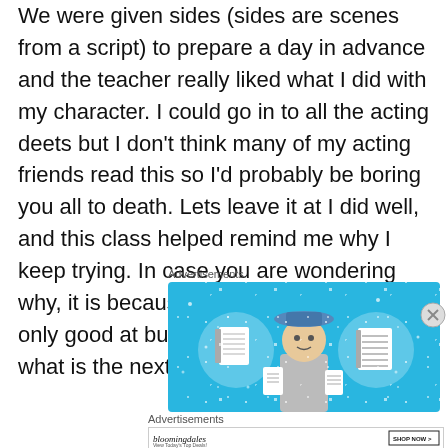We were given sides (sides are scenes from a script) to prepare a day in advance and the teacher really liked what I did with my character. I could go in to all the acting deets but I don't think many of my acting friends read this so I'd probably be boring you all to death. Lets leave it at I did well, and this class helped remind me why I keep trying. In case you are wondering why, it is because it is something I am not only good at but love. I can't wait to see what is the next scene I get! 🙂
Advertisements
[Figure (illustration): Blue advertisement banner showing illustrated icons of a notebook, a person with a hat holding items, and a lined notepad, with sparkle/star decorations on blue background.]
Advertisements
[Figure (screenshot): Bloomingdales advertisement showing 'bloomingdales View Today's Top Deals!' text on left, woman in large hat in center, and 'SHOP NOW >' button on right, white background.]